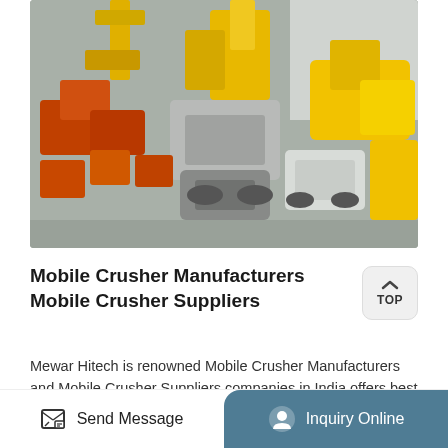[Figure (photo): Aerial/overhead view of industrial mobile crusher machinery and equipment including yellow and orange heavy machines parked in a warehouse or yard.]
Mobile Crusher Manufacturers Mobile Crusher Suppliers
Mewar Hitech is renowned Mobile Crusher Manufacturers and Mobile Crusher Suppliers companies in India offers best results to the clients . high end calcining ore jaw-type crushing machine sale Amazon Business. sales@kingsoncrusher.com +91-9001113333 . jaw crusher
Send Message
Inquiry Online